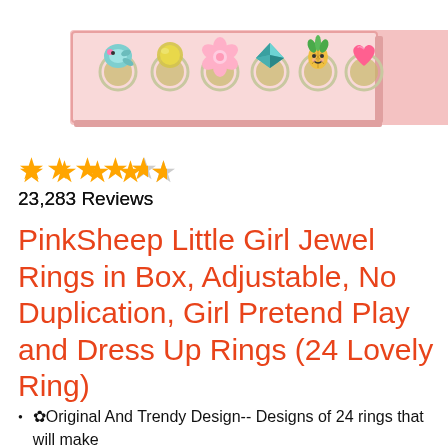[Figure (photo): Product photo showing a pink box containing 7 colorful decorative rings in a row: a teal dolphin ring, a yellow shell ring, a pink flower ring, a teal gemstone ring, a pineapple character ring, and a pink heart ring on a light pink background.]
★★★★½
23,283 Reviews
PinkSheep Little Girl Jewel Rings in Box, Adjustable, No Duplication, Girl Pretend Play and Dress Up Rings (24 Lovely Ring)
✿Original And Trendy Design-- Designs of 24 rings that will make